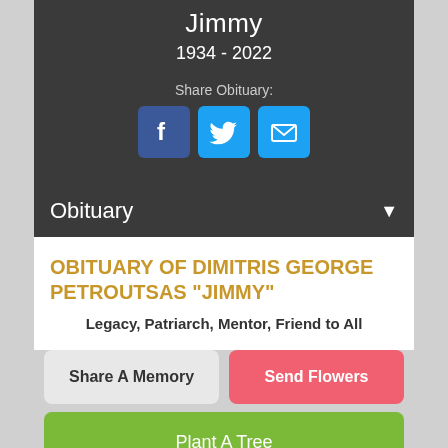Jimmy
1934 - 2022
Share Obituary:
[Figure (other): Social share icons: Facebook (blue f), Twitter (blue bird), Email (teal envelope)]
Obituary
OBITUARY OF DIMITRIS GEORGE PETROUTSAS "JIMMY"
Legacy, Patriarch, Mentor, Friend to All
Share A Memory
Send Flowers
Plant A Tree